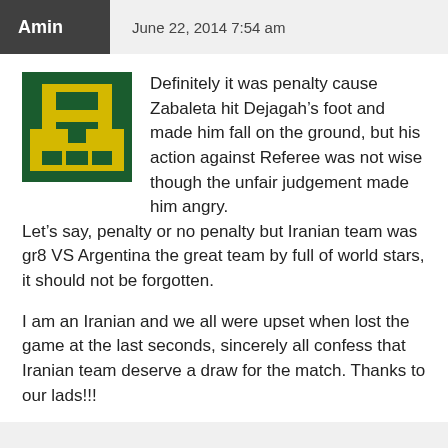Amin   June 22, 2014 7:54 am
[Figure (illustration): Pixel art avatar of a letter A in yellow on a dark green background, resembling a retro 8-bit style icon.]
Definitely it was penalty cause Zabaleta hit Dejagah’s foot and made him fall on the ground, but his action against Referee was not wise though the unfair judgement made him angry.
Let’s say, penalty or no penalty but Iranian team was gr8 VS Argentina the great team by full of world stars, it should not be forgotten.
I am an Iranian and we all were upset when lost the game at the last seconds, sincerely all confess that Iranian team deserve a draw for the match. Thanks to our lads!!!